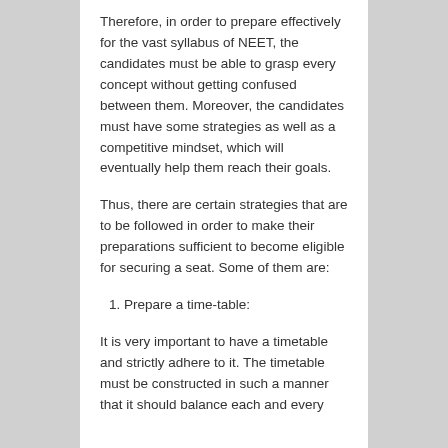Therefore, in order to prepare effectively for the vast syllabus of NEET, the candidates must be able to grasp every concept without getting confused between them. Moreover, the candidates must have some strategies as well as a competitive mindset, which will eventually help them reach their goals.
Thus, there are certain strategies that are to be followed in order to make their preparations sufficient to become eligible for securing a seat. Some of them are:
Prepare a time-table:
It is very important to have a timetable and strictly adhere to it. The timetable must be constructed in such a manner that it should balance each and every